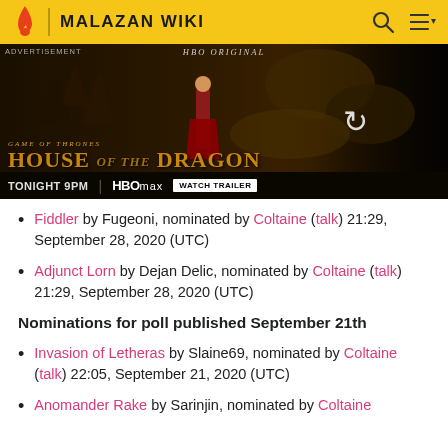MALAZAN WIKI
[Figure (screenshot): Advertisement banner for HBO Original 'House of the Dragon' - Game of Thrones spinoff. Shows 'TONIGHT 9PM | HBOMAX | WATCH TRAILER']
Fiddler by Fugeoni, nominated by Coltaine (talk) 21:29, September 28, 2020 (UTC)
Adjunct Lorn by Dejan Delic, nominated by Coltaine (talk) 21:29, September 28, 2020 (UTC)
Nominations for poll published September 21th
Invasion of Letheras by Slaine69, nominated by Coltaine (talk) 22:05, September 21, 2020 (UTC)
Anomander Rake by Sarinjin, nominated by Coltaine